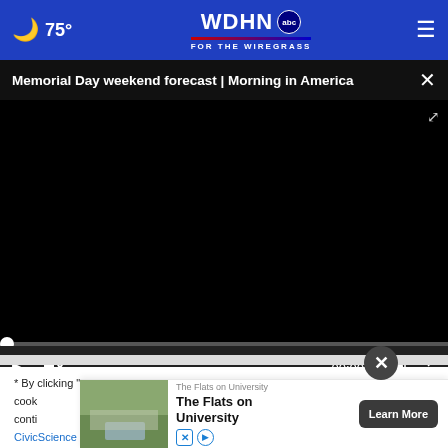🌙 75° | WDHN abc FOR THE WIREGRASS
Memorial Day weekend forecast | Morning in America
[Figure (screenshot): Video player showing black screen with playback controls: play button, mute button, timestamp 00:00, captions icon, fullscreen icon. A white circle progress dot at the left of the seek bar.]
* By clicking "NEXT" you agree to the following: We use cookies on this site. To learn more or to change your cookie settings, click here. By clicking "NEXT" or continuing to use our site, you accept our updated Privacy Policy and Terms of Service. CivicScience Privacy Policy and Terms of Service
[Figure (screenshot): Advertisement banner for 'The Flats on University' showing a building with pool image, 'Learn More' button, and small X and play ad icons.]